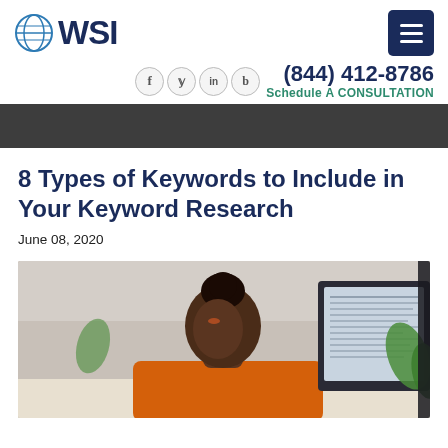WSI
(844) 412-8786
Schedule A CONSULTATION
8 Types of Keywords to Include in Your Keyword Research
June 08, 2020
[Figure (photo): A Black woman in an orange top sitting at a desk, working on a computer monitor]